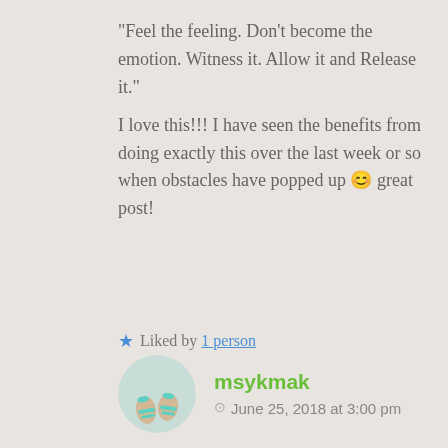“Feel the feeling. Don’t become the emotion. Witness it. Allow it and Release it.”
I love this!!! I have seen the benefits from doing exactly this over the last week or so when obstacles have popped up 😊 great post!
★ Liked by 1 person
↳ Reply
[Figure (photo): Circular avatar photo showing feet wearing turquoise/mint sandals]
msykmak
June 25, 2018 at 3:00 pm